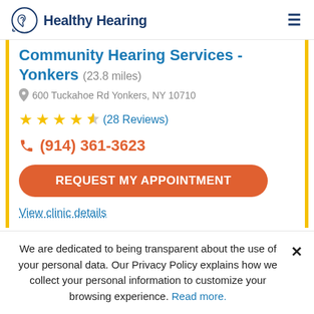Healthy Hearing
Community Hearing Services - Yonkers (23.8 miles)
600 Tuckahoe Rd Yonkers, NY 10710
★★★★½ (28 Reviews)
(914) 361-3623
REQUEST MY APPOINTMENT
View clinic details
We are dedicated to being transparent about the use of your personal data. Our Privacy Policy explains how we collect your personal information to customize your browsing experience. Read more.